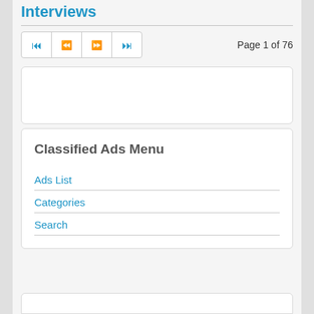Interviews
Page 1 of 76
[Figure (screenshot): Empty white card panel]
Classified Ads Menu
Ads List
Categories
Search
[Figure (screenshot): Partial empty white card at bottom of page]